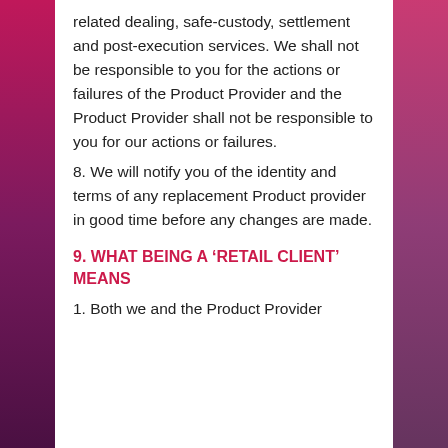related dealing, safe-custody, settlement and post-execution services. We shall not be responsible to you for the actions or failures of the Product Provider and the Product Provider shall not be responsible to you for our actions or failures.
8. We will notify you of the identity and terms of any replacement Product provider in good time before any changes are made.
9. WHAT BEING A ‘RETAIL CLIENT’ MEANS
1. Both we and the Product Provider